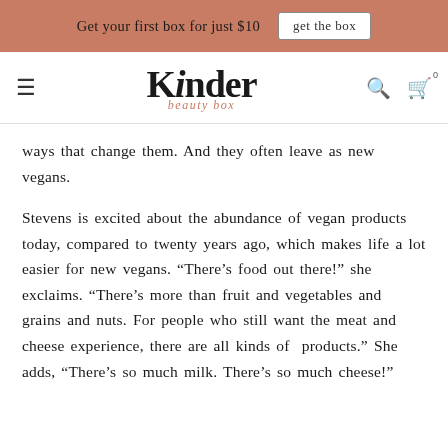Get your first box for just $10  |  get the box
Kinder Beauty Box
ways that change them. And they often leave as new vegans.
Stevens is excited about the abundance of vegan products today, compared to twenty years ago, which makes life a lot easier for new vegans. “There’s food out there!” she exclaims. “There’s more than fruit and vegetables and grains and nuts. For people who still want the meat and cheese experience, there are all kinds of  products.” She adds, “There’s so much milk. There’s so much cheese!”